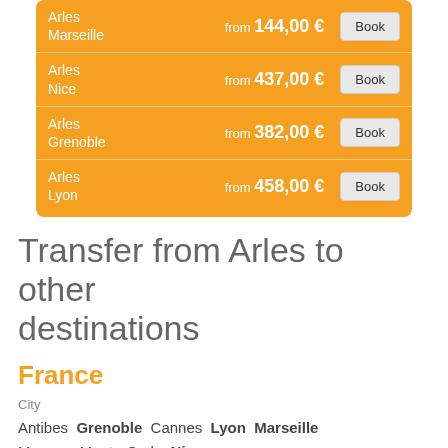| Route | Price | Action |
| --- | --- | --- |
| Arles
Marseille | from 144,00 € | Book |
| Arles
Nice | from 437,00 € | Book |
| Arles
Grenoble | from 382,00 € | Book |
| Arles
Lyon | from 458,00 € | Book |
Transfer from Arles to other destinations
France
City
Antibes Grenoble Cannes Lyon Marseille Monaco Monte-Carlo Nice
Airport
Annecy Airport Grenoble Alpes Isere Airport